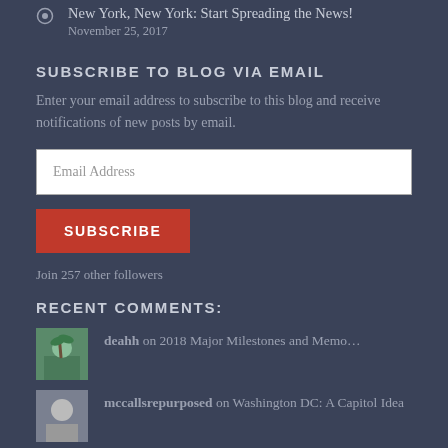New York, New York: Start Spreading the News!
November 25, 2017
SUBSCRIBE TO BLOG VIA EMAIL
Enter your email address to subscribe to this blog and receive notifications of new posts by email.
Email Address
SUBSCRIBE
Join 257 other followers
RECENT COMMENTS:
deahh on 2018 Major Milestones and Memo…
mccallsrepurposed on Washington DC: A Capitol Idea